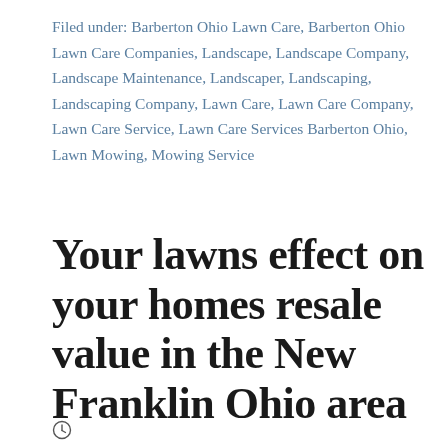Filed under: Barberton Ohio Lawn Care, Barberton Ohio Lawn Care Companies, Landscape, Landscape Company, Landscape Maintenance, Landscaper, Landscaping, Landscaping Company, Lawn Care, Lawn Care Company, Lawn Care Service, Lawn Care Services Barberton Ohio, Lawn Mowing, Mowing Service
Your lawns effect on your homes resale value in the New Franklin Ohio area